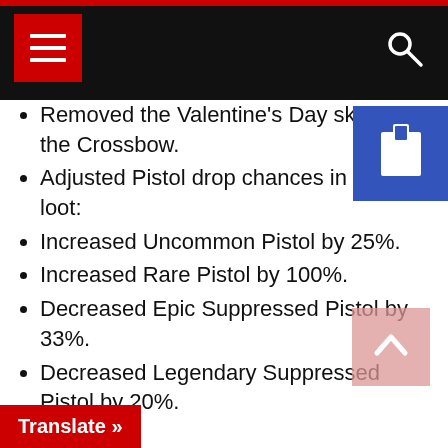Navigation header with menu icon and search icon
Removed the Valentine's Day skin from the Crossbow.
Adjusted Pistol drop chances in floor loot:
Increased Uncommon Pistol by 25%.
Increased Rare Pistol by 100%.
Decreased Epic Suppressed Pistol by 33%.
Decreased Legendary Suppressed Pistol by 20%.
Bug Fixes
Fixed the colorful outlines around weapon pickups not showing up.
Fixed the Crossbow not reloading if the fire button is pressed with an empty ammo clip.
Fixed the Impulse Grenade sometimes not sticking to the environment.
...covery issue that caused the reticle